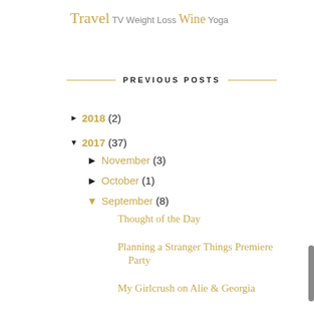Travel TV Weight Loss Wine Yoga
PREVIOUS POSTS
► 2018 (2)
▼ 2017 (37)
► November (3)
► October (1)
▼ September (8)
Thought of the Day
Planning a Stranger Things Premiere Party
My Girlcrush on Alie & Georgia